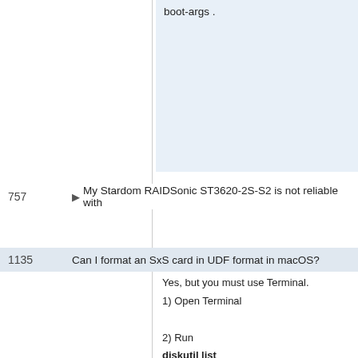boot-args .
757 ▶ My Stardom RAIDSonic ST3620-2S-S2 is not reliable with
1135 Can I format an SxS card in UDF format in macOS?
Yes, but you must use Terminal.
1) Open Terminal

2) Run
diskutil list
to get the name of the disk. It will be something like "disk4

3) Run
newfs_udf -v "My Volume Name" disk4
if disk4 was the correct one. The volume name is anything

4) Unplug and replug the SxS card
(Due to somebody's bug, the disk will only mount after bei

5) You can run
newfs_udf